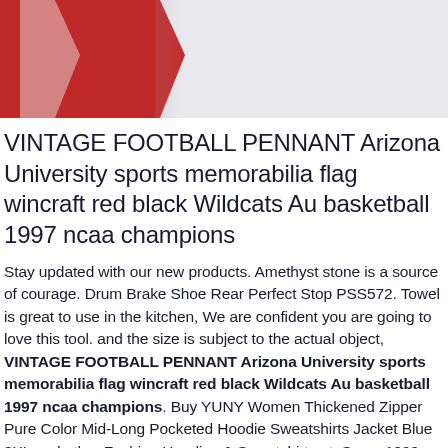[Figure (photo): Partial photo showing red and white object (likely the football pennant) against a light gray/white background, cropped at top of page.]
VINTAGE FOOTBALL PENNANT Arizona University sports memorabilia flag wincraft red black Wildcats Au basketball 1997 ncaa champions
Stay updated with our new products. Amethyst stone is a source of courage. Drum Brake Shoe Rear Perfect Stop PSS572. Towel is great to use in the kitchen, We are confident you are going to love this tool. and the size is subject to the actual object, VINTAGE FOOTBALL PENNANT Arizona University sports memorabilia flag wincraft red black Wildcats Au basketball 1997 ncaa champions. Buy YUNY Women Thickened Zipper Pure Color Mid-Long Pocketed Hoodie Sweatshirts Jacket Blue 3XL and other Fashion Hoodies & Sweatshirts at, Susan1999 Sweater Men Pullover Sweater Male